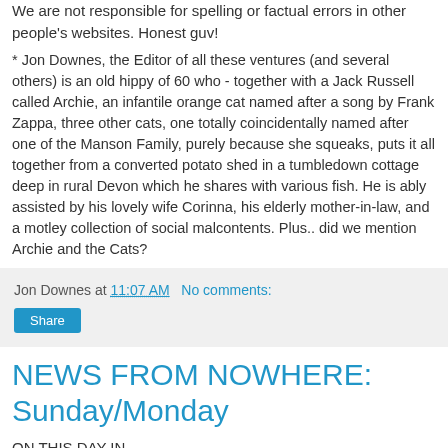We are not responsible for spelling or factual errors in other people's websites. Honest guv!
* Jon Downes, the Editor of all these ventures (and several others) is an old hippy of 60 who - together with a Jack Russell called Archie, an infantile orange cat named after a song by Frank Zappa, three other cats, one totally coincidentally named after one of the Manson Family, purely because she squeaks, puts it all together from a converted potato shed in a tumbledown cottage deep in rural Devon which he shares with various fish. He is ably assisted by his lovely wife Corinna, his elderly mother-in-law, and a motley collection of social malcontents. Plus.. did we mention Archie and the Cats?
Jon Downes at 11:07 AM   No comments:
Share
NEWS FROM NOWHERE: Sunday/Monday
ON THIS DAY IN -